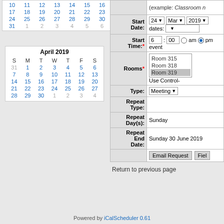[Figure (other): Partial calendar showing end of month (rows: 10-16, 17-23, 24-30, 31)]
[Figure (other): April 2019 calendar with days S M T W T F S]
| Start Date: | 24 ▼ Mar ▼ 2019 ▼ | dates: |
| Start Time:* | 6 : 00  am  pm | event |
| Rooms* | Room 315
Room 318
Room 319 | Use Control- |
| Type: | Meeting ▼ |  |
| Repeat Type: |  |  |
| Repeat Day(s): | Sunday |  |
| Repeat End Date: | Sunday 30 June 2019 |  |
Return to previous page
Powered by iCalScheduler 0.61